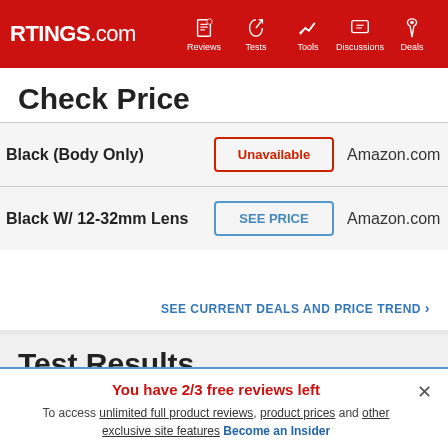RTINGS.com | Reviews | Tests | Tools | Discussions | Deals
Check Price
| Product | Availability | Retailer |
| --- | --- | --- |
| Black (Body Only) | Unavailable | Amazon.com |
| Black W/ 12-32mm Lens | SEE PRICE | Amazon.com |
SEE CURRENT DEALS AND PRICE TREND >
Test Results
You have 2/3 free reviews left
To access unlimited full product reviews, product prices and other exclusive site features Become an Insider